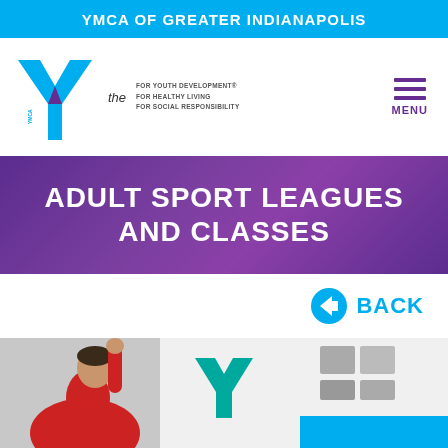YMCA OF GREATER INDIANAPOLIS
[Figure (logo): YMCA logo with blue/purple Y symbol and tagline: FOR YOUTH DEVELOPMENT, FOR HEALTHY LIVING, FOR SOCIAL RESPONSIBILITY; with MENU hamburger icon in purple]
ADULT SPORT LEAGUES AND CLASSES
[Figure (illustration): Blue circle with left-pointing arrow labeled BACK in cyan text]
[Figure (photo): Photo of a person in a red shirt reaching up, with a YMCA bulletin board showing green Y logo in background]